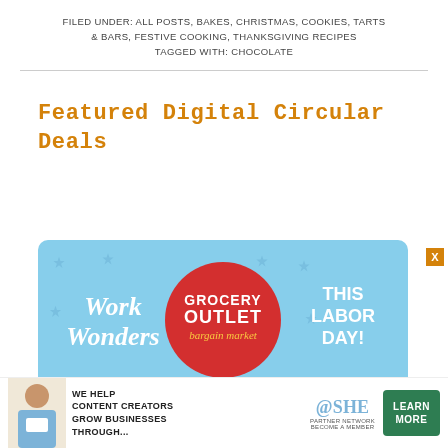FILED UNDER: ALL POSTS, BAKES, CHRISTMAS, COOKIES, TARTS & BARS, FESTIVE COOKING, THANKSGIVING RECIPES
TAGGED WITH: CHOCOLATE
Featured Digital Circular Deals
[Figure (infographic): Grocery Outlet Bargain Market Labor Day ad with 'Work Wonders This Labor Day!' headline. Shows chocolate chip cookies with BUY 1 GET 1 FREE offer, Beyond Burger with BUY 1 GET 1 FREE offer, and Pretzilla products.]
[Figure (infographic): SHE Media Partner Network advertisement. Text: 'We help content creators grow businesses through...' with a LEARN MORE button and logo.]